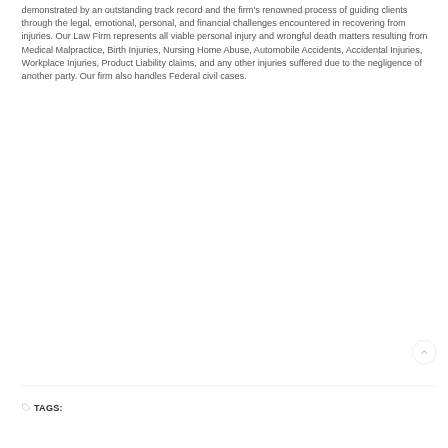demonstrated by an outstanding track record and the firm's renowned process of guiding clients through the legal, emotional, personal, and financial challenges encountered in recovering from injuries. Our Law Firm represents all viable personal injury and wrongful death matters resulting from Medical Malpractice, Birth Injuries, Nursing Home Abuse, Automobile Accidents, Accidental Injuries, Workplace Injuries, Product Liability claims, and any other injuries suffered due to the negligence of another party. Our firm also handles Federal civil cases.
TAGS: